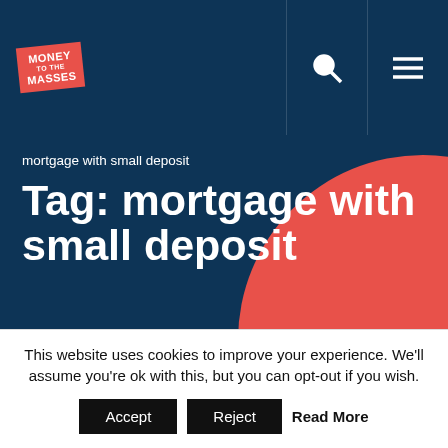[Figure (logo): Money to the Masses logo — red sign with white text]
mortgage with small deposit
Tag: mortgage with small deposit
This website uses cookies to improve your experience. We'll assume you're ok with this, but you can opt-out if you wish.
Accept   Reject   Read More